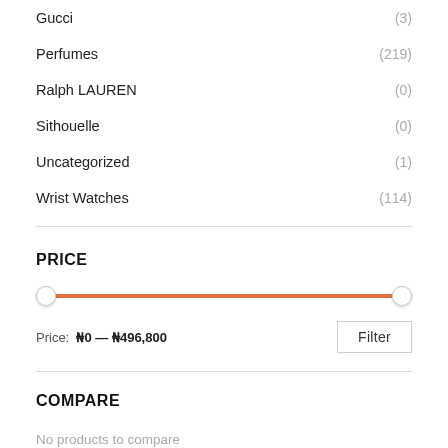Gucci (3)
Perfumes (219)
Ralph LAUREN (0)
Sithouelle (0)
Uncategorized (1)
Wrist Watches (114)
PRICE
[Figure (other): Price range slider from ₦0 to ₦496,800 with orange filled track and two white circular thumb handles at left and right ends]
Price: ₦0 — ₦496,800
COMPARE
No products to compare